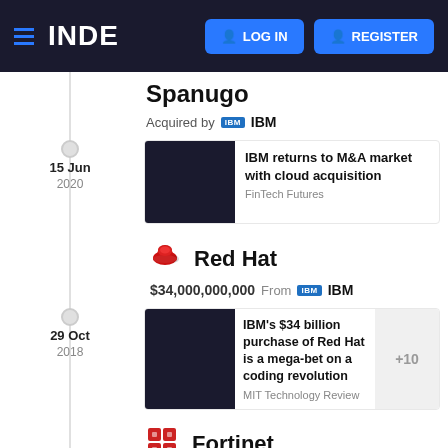INDE | LOG IN | REGISTER
Spanugo
Acquired by IBM
15 Jun 2020
[Figure (screenshot): Dark thumbnail image for article]
IBM returns to M&A market with cloud acquisition
FinTech Futures
Red Hat
$34,000,000,000 From IBM
29 Oct 2018
[Figure (screenshot): Dark thumbnail image for article]
IBM's $34 billion purchase of Red Hat is a mega-bet on a coding revolution
MIT Technology Review
+10
Fortinet